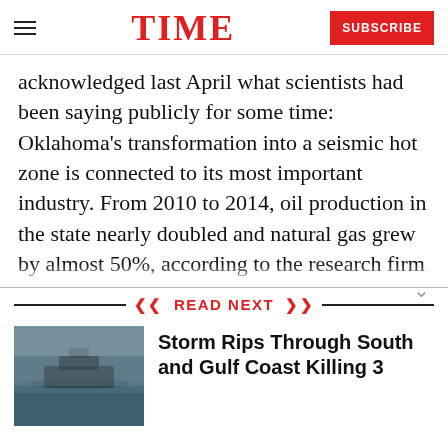TIME | SUBSCRIBE
acknowledged last April what scientists had been saying publicly for some time: Oklahoma’s transformation into a seismic hot zone is connected to its most important industry. From 2010 to 2014, oil production in the state nearly doubled and natural gas grew by almost 50%, according to the research firm RegionTrack. New drilling technologies made it possible to extract oil from
READ NEXT
[Figure (photo): Photograph showing a boat or vehicle in flooded/stormy conditions]
Storm Rips Through South and Gulf Coast Killing 3